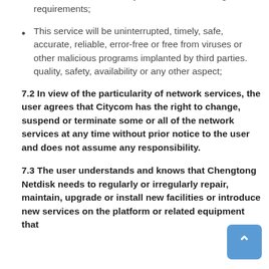This service will definitely meet the user's usage requirements;
This service will be uninterrupted, timely, safe, accurate, reliable, error-free or free from viruses or other malicious programs implanted by third parties. quality, safety, availability or any other aspect;
7.2 In view of the particularity of network services, the user agrees that Citycom has the right to change, suspend or terminate some or all of the network services at any time without prior notice to the user and does not assume any responsibility.
7.3 The user understands and knows that Chengtong Netdisk needs to regularly or irregularly repair, maintain, upgrade or install new facilities or introduce new services on the platform or related equipment that